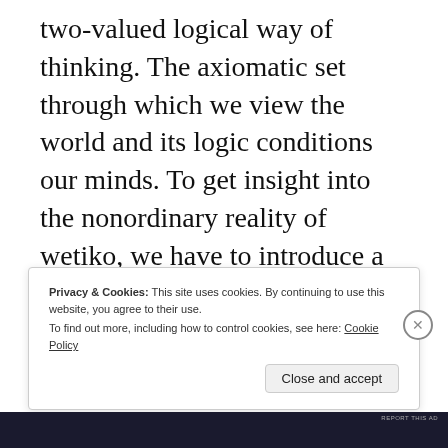two-valued logical way of thinking. The axiomatic set through which we view the world and its logic conditions our minds. To get insight into the nonordinary reality of wetiko, we have to introduce a higher form of logic in order to wrap our minds around what we are dealing with.
[Figure (screenshot): WordPress.com advertisement banner: 'Simplified pricing for everything you need.' with WordPress.com logo on a gradient purple-pink background.]
REPORT THIS AD
Privacy & Cookies: This site uses cookies. By continuing to use this website, you agree to their use.
To find out more, including how to control cookies, see here: Cookie Policy
Close and accept
REPORT THIS AD